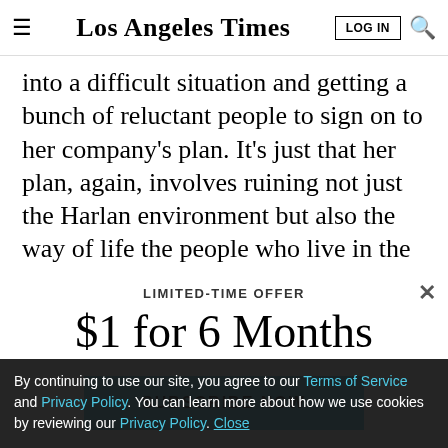Los Angeles Times
into a difficult situation and getting a bunch of reluctant people to sign on to her company's plan. It's just that her plan, again, involves ruining not just the Harlan environment but also the way of life the people who live in the Holler have built up over centuries.
LIMITED-TIME OFFER
$1 for 6 Months
SUBSCRIBE NOW
By continuing to use our site, you agree to our Terms of Service and Privacy Policy. You can learn more about how we use cookies by reviewing our Privacy Policy. Close